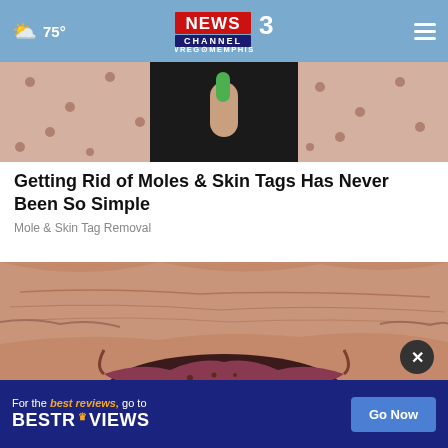75° NEWS CHANNEL 3 WREG MEMPHIS
[Figure (photo): Close-up photo of a person in a polka-dot shirt holding a small green item between fingers against dark background]
Getting Rid of Moles & Skin Tags Has Never Been So Simple
Mole & Skin Tag Removal
[Figure (photo): Close-up macro photo of elderly person's heavily wrinkled lips and surrounding skin]
[Figure (infographic): Advertisement banner: 'For the best reviews, go to BESTREVIEWS' with a 'Go Now' button]